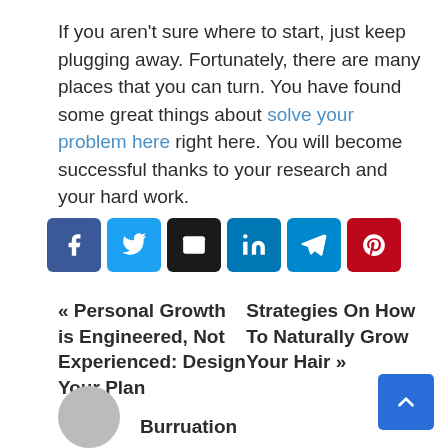If you aren't sure where to start, just keep plugging away. Fortunately, there are many places that you can turn. You have found some great things about solve your problem here right here. You will become successful thanks to your research and your hard work.
[Figure (other): Row of six social share buttons: Facebook (dark blue), Twitter (light blue), Email (black), LinkedIn (blue), Telegram (teal), Pinterest (red)]
« Personal Growth is Engineered, Not Experienced: Design Your Plan    Strategies On How To Naturally Grow Your Hair »
[Figure (photo): Circular author avatar photo (partially visible at bottom)]
Burruation